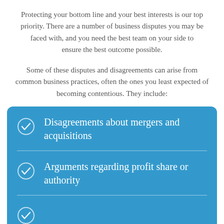Protecting your bottom line and your best interests is our top priority. There are a number of business disputes you may be faced with, and you need the best team on your side to ensure the best outcome possible.
Some of these disputes and disagreements can arise from common business practices, often the ones you least expected of becoming contentious. They include:
Disagreements about mergers and acquisitions
Arguments regarding profit share or authority